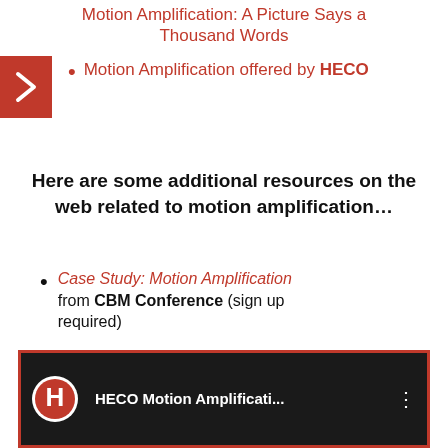Motion Amplification: A Picture Says a Thousand Words
Motion Amplification offered by HECO
Here are some additional resources on the web related to motion amplification...
Case Study: Motion Amplification from CBM Conference (sign up required)
What is motion amplification on YouTube
[Figure (screenshot): YouTube video thumbnail showing HECO logo and title 'HECO Motion Amplificati...' with three-dot menu icon]